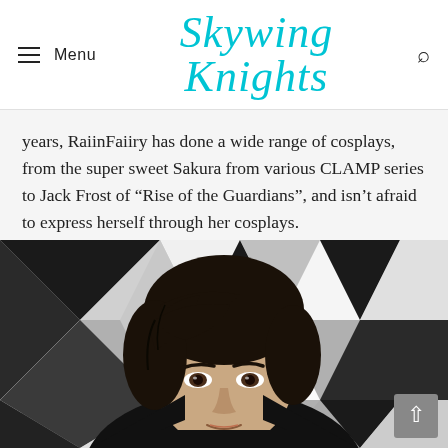Menu | Skywing Knights | Search
years, RaiinFaiiry has done a wide range of cosplays, from the super sweet Sakura from various CLAMP series to Jack Frost of “Rise of the Guardians”, and isn’t afraid to express herself through her cosplays.
[Figure (photo): Portrait photo of a young East Asian man with dark tousled hair, wearing a dark turtleneck, against a geometric black, white, and grey diamond-pattern background.]